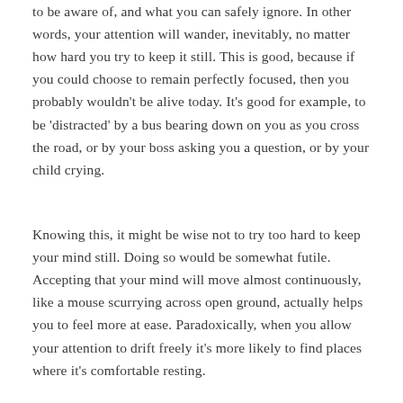to be aware of, and what you can safely ignore. In other words, your attention will wander, inevitably, no matter how hard you try to keep it still. This is good, because if you could choose to remain perfectly focused, then you probably wouldn't be alive today. It's good for example, to be 'distracted' by a bus bearing down on you as you cross the road, or by your boss asking you a question, or by your child crying.
Knowing this, it might be wise not to try too hard to keep your mind still. Doing so would be somewhat futile. Accepting that your mind will move almost continuously, like a mouse scurrying across open ground, actually helps you to feel more at ease. Paradoxically, when you allow your attention to drift freely it's more likely to find places where it's comfortable resting.